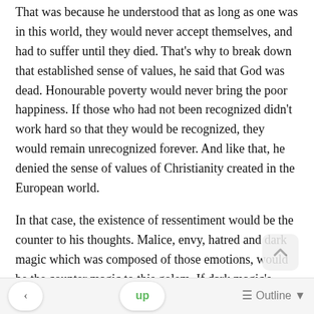That was because he understood that as long as one was in this world, they would never accept themselves, and had to suffer until they died. That's why to break down that established sense of values, he said that God was dead. Honourable poverty would never bring the poor happiness. If those who had not been recognized didn't work hard so that they would be recognized, they would remain unrecognized forever. And like that, he denied the sense of values of Christianity created in the European world.
In that case, the existence of ressentiment would be the counter to his thoughts. Malice, envy, hatred and dark magic which was composed of those emotions, would be the counter magic to this golem. If dark magic's foundation was based on the emotions of the world, the envy of the weak towards the strong would definitely be there.
"   Come, come, follow me. Use my blasphemous voice as a
< | up | ≡ Outline ▼